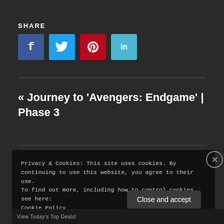SHARE
[Figure (other): Social share buttons: Facebook (f), Twitter (bird icon), Pinterest (p), LinkedIn (in)]
« Journey to 'Avengers: Endgame' | Phase 3
Privacy & Cookies: This site uses cookies. By continuing to use this website, you agree to their use.
To find out more, including how to control cookies, see here:
Cookie Policy
Close and accept